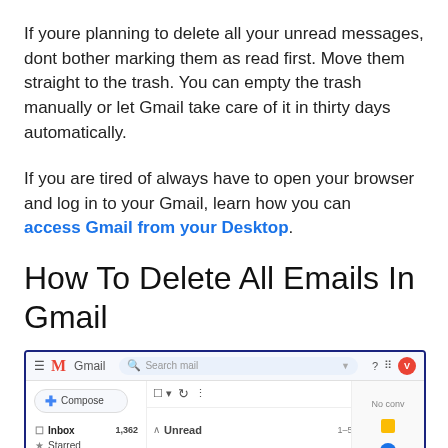If youre planning to delete all your unread messages, dont bother marking them as read first. Move them straight to the trash. You can empty the trash manually or let Gmail take care of it in thirty days automatically.
If you are tired of always have to open your browser and log in to your Gmail, learn how you can access Gmail from your Desktop.
How To Delete All Emails In Gmail
[Figure (screenshot): Screenshot of Gmail inbox interface showing the Gmail logo, search bar, Compose button, Inbox with 1,362 emails, Starred, Snoozed items in sidebar, and an Unread section with 1-50 of 1,362 emails shown. An email from ITechGuides is visible with subject 'Your Tech Guides for 07/08/2019'.]